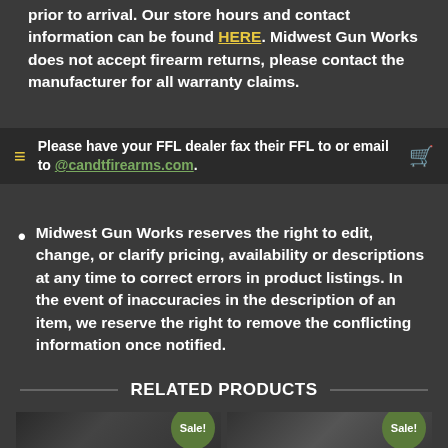prior to arrival. Our store hours and contact information can be found HERE. Midwest Gun Works does not accept firearm returns, please contact the manufacturer for all warranty claims.
Please have your FFL dealer fax their FFL to or email to @candtfirearms.com.
Midwest Gun Works reserves the right to edit, change, or clarify pricing, availability or descriptions at any time to correct errors in product listings. In the event of inaccuracies in the description of an item, we reserve the right to remove the conflicting information once notified.
RELATED PRODUCTS
[Figure (photo): Product image of a firearm with Sale! badge]
[Figure (photo): Product image of a firearm with Sale! badge]